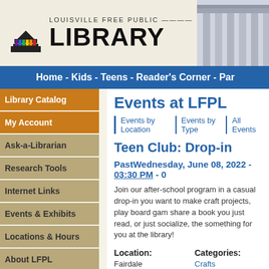[Figure (logo): Louisville Free Public Library logo with colorful striped book icon and large LIBRARY text]
[Figure (photo): Partial photo of library building columns on right side of header]
Home - Kids - Teens - Reader's Corner - Par
Library Catalog
My Account
Ask-a-Librarian
Research Tools
Internet Links
Events & Exhibits
Locations & Hours
About LFPL
Services
Accessibility
Get Involved
Events at LFPL
Events by Location | Events by Type | All Events
Teen Club: Drop-in
PastWednesday, June 08, 2022 - 03:30 PM -
Join our after-school program in a casual drop-in you want to make craft projects, play board gam share a book you just read, or just socialize, the something for you at the library!
Location:
Fairdale
10620 West Manslick Rd.
Categories:
Crafts
Maker & Di